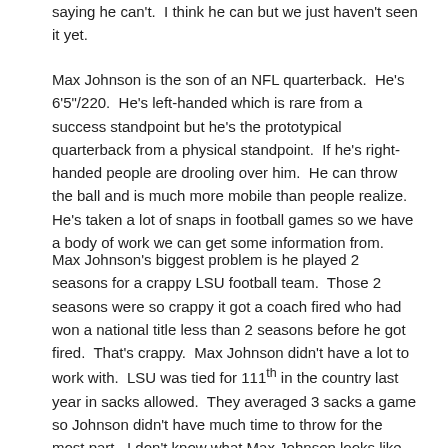saying he can't.  I think he can but we just haven't seen it yet.
Max Johnson is the son of an NFL quarterback.  He's 6'5"/220.  He's left-handed which is rare from a success standpoint but he's the prototypical quarterback from a physical standpoint.  If he's right-handed people are drooling over him.  He can throw the ball and is much more mobile than people realize.  He's taken a lot of snaps in football games so we have a body of work we can get some information from.
Max Johnson's biggest problem is he played 2 seasons for a crappy LSU football team.  Those 2 seasons were so crappy it got a coach fired who had won a national title less than 2 seasons before he got fired.  That's crappy.  Max Johnson didn't have a lot to work with.  LSU was tied for 111th in the country last year in sacks allowed.  They averaged 3 sacks a game so Johnson didn't have much time to throw for the most part.  I don't know what Max Johnson looks like with a better team but a quarterback is often the product of their surroundings.  You need time and targets.